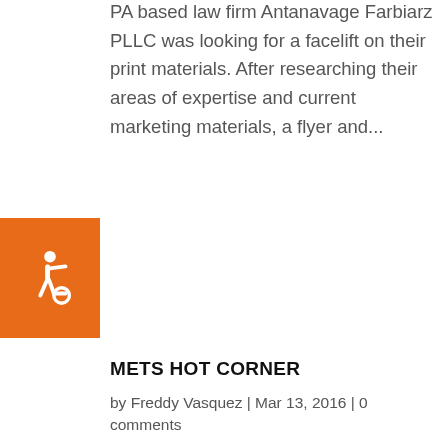PA based law firm Antanavage Farbiarz PLLC was looking for a facelift on their print materials. After researching their areas of expertise and current marketing materials, a flyer and...
[Figure (illustration): Orange square accessibility icon with white wheelchair symbol]
METS HOT CORNER
by Freddy Vasquez | Mar 13, 2016 | 0 comments
METS HOT CORNER Branding · Illustration · Video · Social Media Project Description This promotional video created for the baseball fan blog Mets Hot Corner. Along with Adobe Photoshop and Final Cut Pro, MLB videos clips were edited together with the addition of...